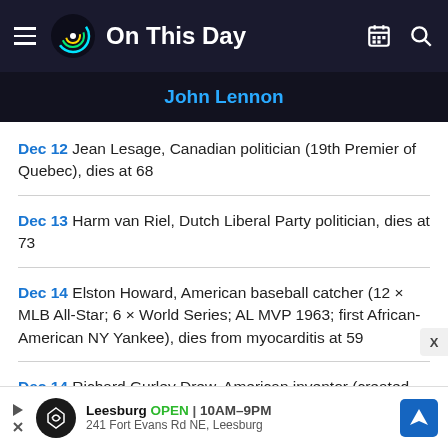On This Day
John Lennon
Dec 12 Jean Lesage, Canadian politician (19th Premier of Quebec), dies at 68
Dec 13 Harm van Riel, Dutch Liberal Party politician, dies at 73
Dec 14 Elston Howard, American baseball catcher (12 × MLB All-Star; 6 × World Series; AL MVP 1963; first African-American NY Yankee), dies from myocarditis at 59
Dec 14 Richard Gurley Drew, American inventor (created
Leesburg OPEN | 10AM–9PM 241 Fort Evans Rd NE, Leesburg